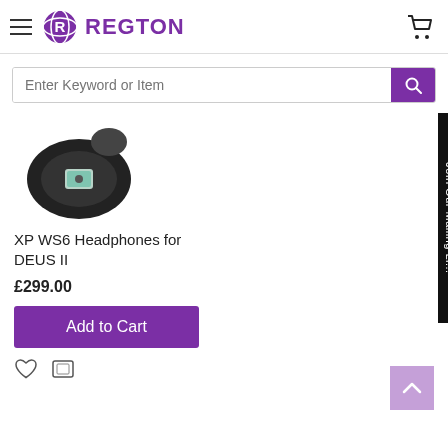[Figure (logo): Regton logo with purple globe icon and REGTON text in purple]
[Figure (screenshot): Search bar with placeholder text Enter Keyword or Item and purple search button]
[Figure (photo): XP WS6 headphones product image, partially visible, showing circular headphone with LCD display]
XP WS6 Headphones for DEUS II
£299.00
Add to Cart
[Figure (infographic): Join Our Mailing List sidebar tab rotated vertically on right edge]
[Figure (infographic): Back to top arrow button in light purple/mauve at bottom right]